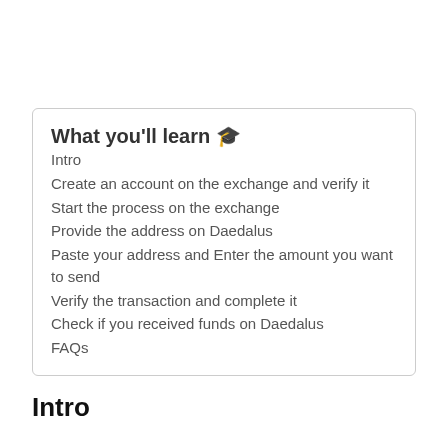What you'll learn 🎓
Intro
Create an account on the exchange and verify it
Start the process on the exchange
Provide the address on Daedalus
Paste your address and Enter the amount you want to send
Verify the transaction and complete it
Check if you received funds on Daedalus
FAQs
Intro